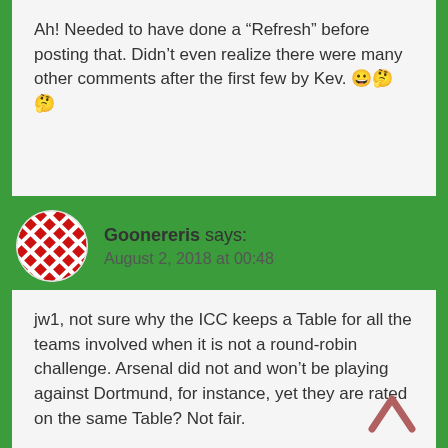Ah! Needed to have done a “Refresh” before posting that. Didn’t even realize there were many other comments after the first few by Kev. 😀🤔🤔
Goonereris says: August 2, 2018 at 00:48
jw1, not sure why the ICC keeps a Table for all the teams involved when it is not a round-robin challenge. Arsenal did not and won’t be playing against Dortmund, for instance, yet they are rated on the same Table? Not fair.